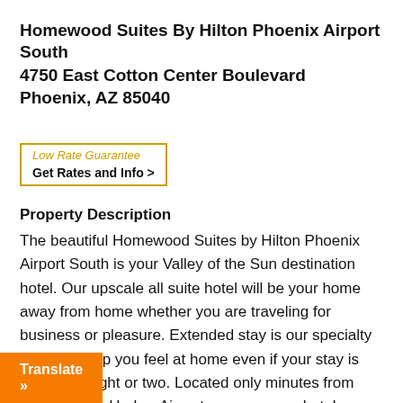Homewood Suites By Hilton Phoenix Airport South
4750 East Cotton Center Boulevard
Phoenix, AZ 85040
[Figure (other): Low Rate Guarantee badge with 'Get Rates and Info >' button, bordered in gold/yellow]
Property Description
The beautiful Homewood Suites by Hilton Phoenix Airport South is your Valley of the Sun destination hotel. Our upscale all suite hotel will be your home away from home whether you are traveling for business or pleasure. Extended stay is our specialty but we*ll help you feel at home even if your stay is only for a night or two. Located only minutes from Phoenix Sky Harbor Airport our gorgeous hotel features 125 studio one and two bedroom suites all with a fully equipped kitchen full size refrigerator microwave cook top washer LCD flat screen television with on
[Figure (other): Orange 'Translate »' button overlay at bottom left]